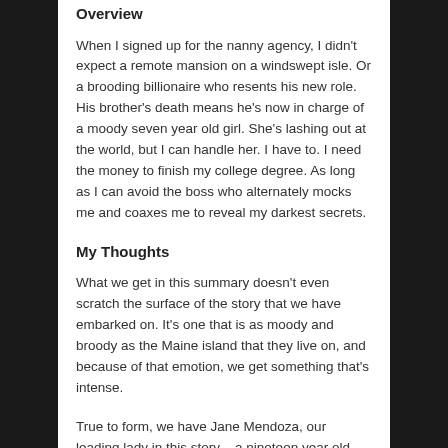Overview
When I signed up for the nanny agency, I didn't expect a remote mansion on a windswept isle. Or a brooding billionaire who resents his new role. His brother's death means he's now in charge of a moody seven year old girl. She's lashing out at the world, but I can handle her. I have to. I need the money to finish my college degree. As long as I can avoid the boss who alternately mocks me and coaxes me to reveal my darkest secrets.
My Thoughts
What we get in this summary doesn't even scratch the surface of the story that we have embarked on. It's one that is as moody and broody as the Maine island that they live on, and because of that emotion, we get something that's intense.
True to form, we have Jane Mendoza, our leading lady in this story – a nineteen year old from Texas who has lived a tough tough life in the foster system, and now wants